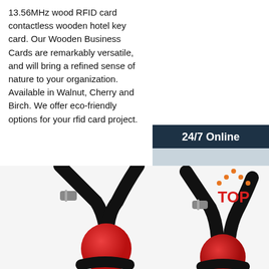13.56MHz wood RFID card contactless wooden hotel key card. Our Wooden Business Cards are remarkably versatile, and will bring a refined sense of nature to your organization. Available in Walnut, Cherry and Birch. We offer eco-friendly options for your rfid card project.
Get Price
[Figure (photo): Customer service widget with '24/7 Online' header, photo of woman with headset, 'Click here for free chat!' text and orange QUOTATION button]
[Figure (photo): Photo of red ball gag restraints with black leather straps, and a TOP badge in the lower right corner]